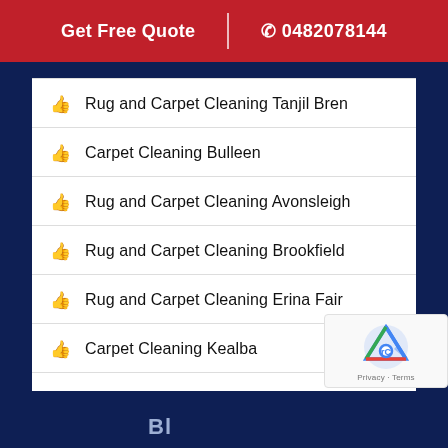Get Free Quote | 0482078144
Rug and Carpet Cleaning Tanjil Bren
Carpet Cleaning Bulleen
Rug and Carpet Cleaning Avonsleigh
Rug and Carpet Cleaning Brookfield
Rug and Carpet Cleaning Erina Fair
Carpet Cleaning Kealba